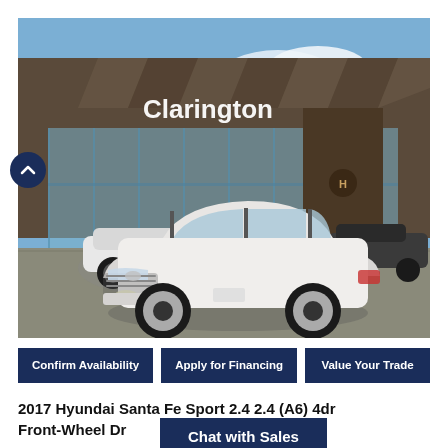[Figure (photo): White 2017 Hyundai Santa Fe Sport parked in front of Clarington Hyundai dealership with glass facade and other vehicles visible]
Confirm Availability
Apply for Financing
Value Your Trade
2017 Hyundai Santa Fe Sport 2.4 2.4 (A6) 4dr Front-Wheel Dr
Chat with Sales